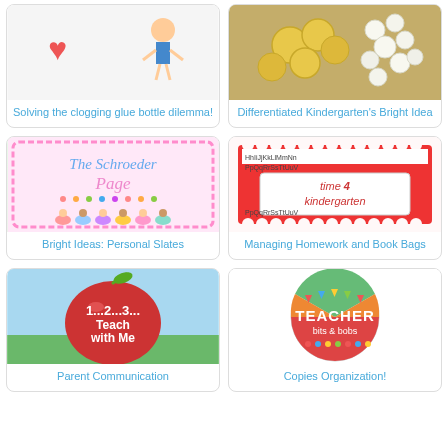[Figure (illustration): Cartoon hearts and figure with glue bottle]
Solving the clogging glue bottle dilemma!
[Figure (photo): Gold coins and pearl beads scattered]
Differentiated Kindergarten's Bright Idea
[Figure (illustration): The Schroeder Page logo with cartoon children]
Bright Ideas: Personal Slates
[Figure (illustration): Time 4 Kindergarten logo with alphabet border]
Managing Homework and Book Bags
[Figure (illustration): 1...2...3... Teach with Me apple logo]
Parent Communication
[Figure (illustration): Teacher Bits and Bobs circular logo with bunting]
Copies Organization!